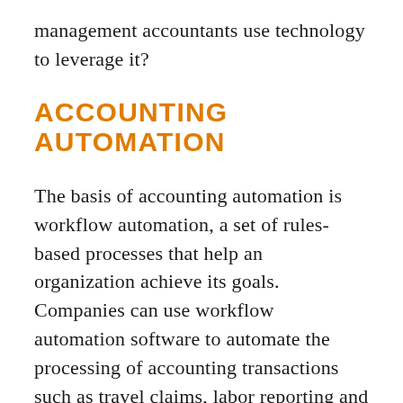management accountants use technology to leverage it?
ACCOUNTING AUTOMATION
The basis of accounting automation is workflow automation, a set of rules-based processes that help an organization achieve its goals. Companies can use workflow automation software to automate the processing of accounting transactions such as travel claims, labor reporting and payroll processing, and accounts payable. The tools can speed up transaction processing,